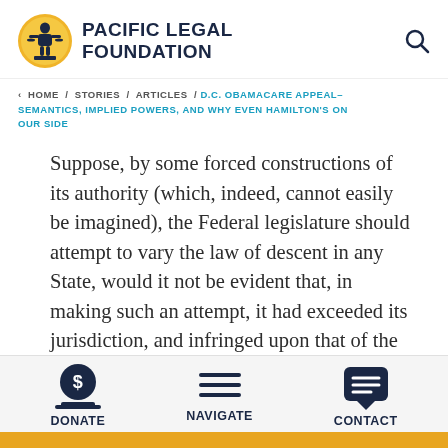PACIFIC LEGAL FOUNDATION
< HOME / STORIES / ARTICLES / D.C. OBAMACARE APPEAL–SEMANTICS, IMPLIED POWERS, AND WHY EVEN HAMILTON'S ON OUR SIDE
Suppose, by some forced constructions of its authority (which, indeed, cannot easily be imagined), the Federal legislature should attempt to vary the law of descent in any State, would it not be evident that, in making such an attempt, it had exceeded its jurisdiction, and infringed upon that of the State?
DONATE  NAVIGATE  CONTACT